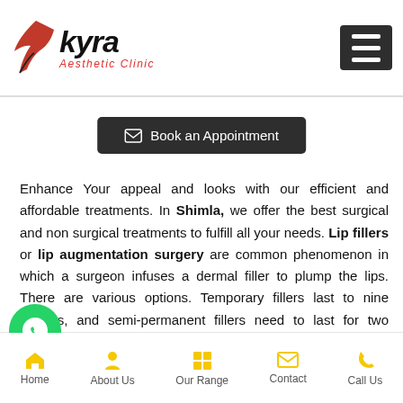[Figure (logo): Kyra Aesthetic Clinic logo with stylized bird and red text]
[Figure (other): Hamburger menu icon (three white lines on dark background)]
[Figure (other): Book an Appointment button (envelope icon, dark background)]
Enhance Your appeal and looks with our efficient and affordable treatments. In Shimla, we offer the best surgical and non surgical treatments to fulfill all your needs. Lip fillers or lip augmentation surgery are common phenomenon in which a surgeon infuses a dermal filler to plump the lips. There are various options. Temporary fillers last to nine months, and semi-permanent fillers need to last for two years.
[Figure (other): WhatsApp floating green circle button]
[Figure (other): Book an Appointment floating pill button (yellow icon, dark background)]
[Figure (other): Scroll up yellow circle button with up chevron]
Home   About Us   Our Range   Contact   Call Us